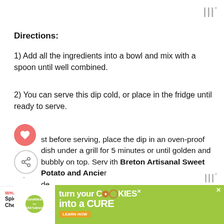|||°
Directions:
1) Add all the ingredients into a bowl and mix with a spoon until well combined.
2) You can serve this dip cold, or place in the fridge until ready to serve.
3) Just before serving, place the dip in an oven-proof dish under a grill for 5 minutes or until golden and bubbly on top. Serve with Breton Artisanal Sweet Potato and Ancient Grain Crackerbread.
WHAT'S NEXT → Spicy Football Cheese Dip...
[Figure (infographic): Advertisement banner: cookies for kids cancer - turn your COOKIES into a CURE LEARN HOW]
|||°